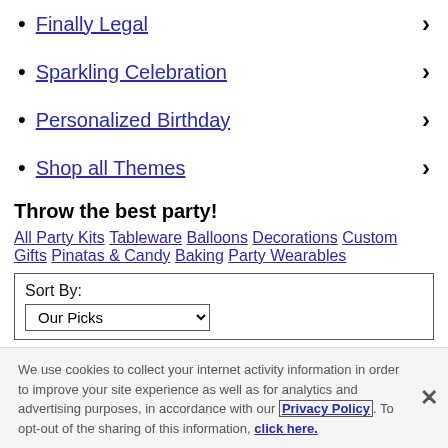Finally Legal
Sparkling Celebration
Personalized Birthday
Shop all Themes
Throw the best party!
All Party Kits Tableware Balloons Decorations Custom Gifts Pinatas & Candy Baking Party Wearables
| Sort By: | Our Picks |
| --- | --- |
We use cookies to collect your internet activity information in order to improve your site experience as well as for analytics and advertising purposes, in accordance with our Privacy Policy To opt-out of the sharing of this information, click here.